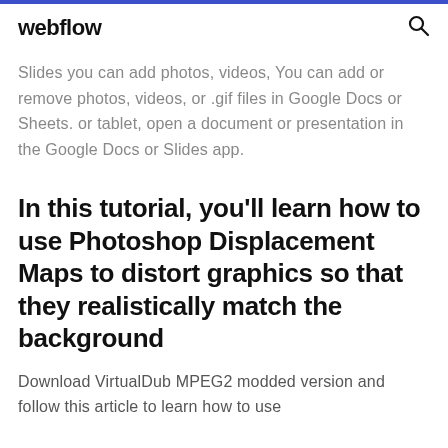webflow
Slides you can add photos, videos, You can add or remove photos, videos, or .gif files in Google Docs or Sheets. or tablet, open a document or presentation in the Google Docs or Slides app.
In this tutorial, you'll learn how to use Photoshop Displacement Maps to distort graphics so that they realistically match the background
Download VirtualDub MPEG2 modded version and follow this article to learn how to use